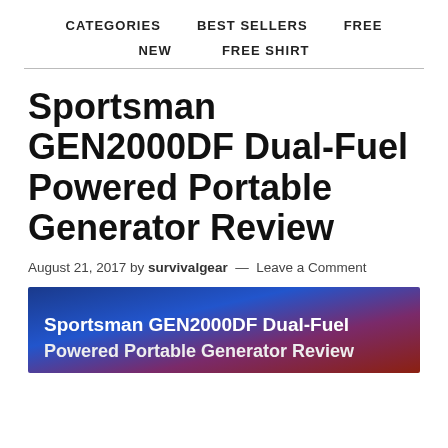CATEGORIES   BEST SELLERS   FREE
NEW   FREE SHIRT
Sportsman GEN2000DF Dual-Fuel Powered Portable Generator Review
August 21, 2017 by survivalgear — Leave a Comment
[Figure (photo): Hero banner image with blue-to-red gradient background and white bold text reading 'Sportsman GEN2000DF Dual-Fuel Powered Portable Generator Review']